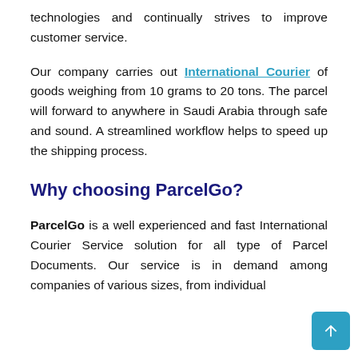technologies and continually strives to improve customer service.
Our company carries out International Courier of goods weighing from 10 grams to 20 tons. The parcel will forward to anywhere in Saudi Arabia through safe and sound. A streamlined workflow helps to speed up the shipping process.
Why choosing ParcelGo?
ParcelGo is a well experienced and fast International Courier Service solution for all type of Parcel Documents. Our service is in demand among companies of various sizes, from individual